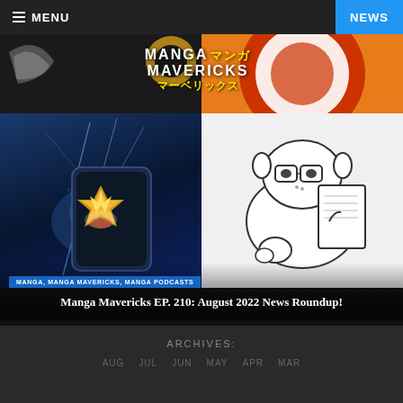MENU | NEWS
[Figure (screenshot): Manga Mavericks website slider showing a featured podcast episode. Left panel: dark blue background with a gold and electric artwork. Right panel: white background with a cartoon character reading. Top portion shows an orange panel and dark banner with the Manga Mavericks logo in white and yellow Japanese text. Bottom shows category tags and episode title.]
MANGA, MANGA MAVERICKS, MANGA PODCASTS
Manga Mavericks EP. 210: August 2022 News Roundup!
ARCHIVES:
AUG JUL JUN MAY APR MAR